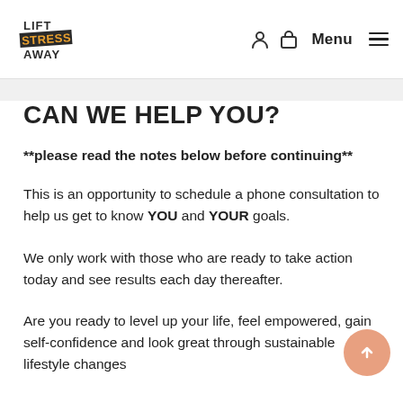[Figure (logo): Lift Stress Away logo — stacked text with 'LIFT', 'STRESS', 'AWAY' in bold dark and orange lettering]
Menu
CAN WE HELP YOU?
**please read the notes below before continuing**
This is an opportunity to schedule a phone consultation to help us get to know YOU and YOUR goals.
We only work with those who are ready to take action today and see results each day thereafter.
Are you ready to level up your life, feel empowered, gain self-confidence and look great through sustainable lifestyle changes